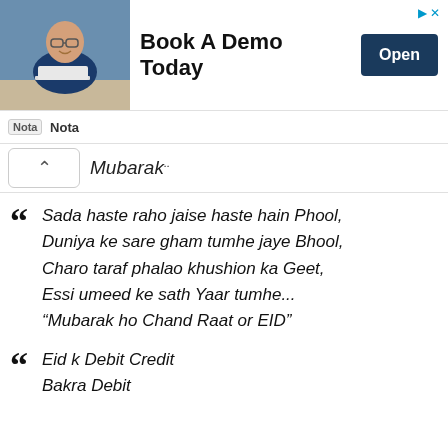[Figure (photo): Ad banner showing a man in glasses smiling at a desk, with text 'Book A Demo Today' and an 'Open' button, and a Nota logo below.]
Mubarak..
Sada haste raho jaise haste hain Phool,
Duniya ke sare gham tumhe jaye Bhool,
Charo taraf phalao khushion ka Geet,
Essi umeed ke sath Yaar tumhe...
“Mubarak ho Chand Raat or EID”
Eid k Debit Credit
Bakra Debit